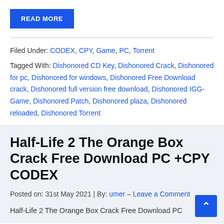READ MORE
Filed Under: CODEX, CPY, Game, PC, Torrent
Tagged With: Dishonored CD Key, Dishonored Crack, Dishonored for pc, Dishonored for windows, Dishonored Free Download crack, Dishonored full version free download, Dishonored IGG-Game, Dishonored Patch, Dishonored plaza, Dishonored reloaded, Dishonored Torrent
Half-Life 2 The Orange Box Crack Free Download PC +CPY CODEX
Posted on: 31st May 2021  |  By: umer – Leave a Comment
Half-Life 2 The Orange Box Crack Free Download PC